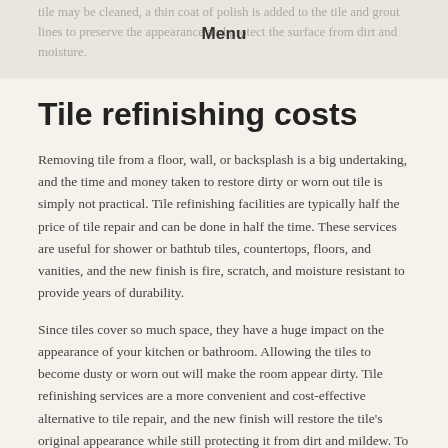tile may be cleaned, a thin coat of polish is added to the tile and grout lines to preserve the appearance and protect the surface from dirt and moisture.
Tile refinishing costs
Removing tile from a floor, wall, or backsplash is a big undertaking, and the time and money taken to restore dirty or worn out tile is simply not practical. Tile refinishing facilities are typically half the price of tile repair and can be done in half the time. These services are useful for shower or bathtub tiles, countertops, floors, and vanities, and the new finish is fire, scratch, and moisture resistant to provide years of durability.
Since tiles cover so much space, they have a huge impact on the appearance of your kitchen or bathroom. Allowing the tiles to become dusty or worn out will make the room appear dirty. Tile refinishing services are a more convenient and cost-effective alternative to tile repair, and the new finish will restore the tile's original appearance while still protecting it from dirt and mildew. To discuss your tile refinishing choices, contact a specialist in your area.